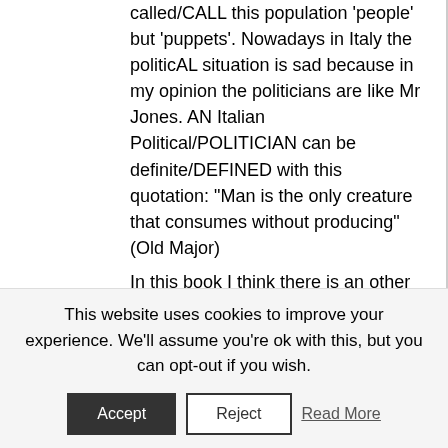called/CALL this population 'people' but 'puppets'. Nowadays in Italy the politicAL situation is sad because in my opinion the politicians are like Mr Jones. AN Italian Political/POLITICIAN can be definite/DEFINED with this quotation: "Man is the only creature that consumes without producing" (Old Major)
In this book I think there is an other important topic: the insurrection. In my opinion IT is one of the most important things in all the history. "The insurrection is the most sacred of all the rights and the most indispensable of all duties" ( Marquise De La Fayette)
I recommend the book for the guys in the high school because for understanding the real meaning you can know a lot of history.
This website uses cookies to improve your experience. We'll assume you're ok with this, but you can opt-out if you wish.